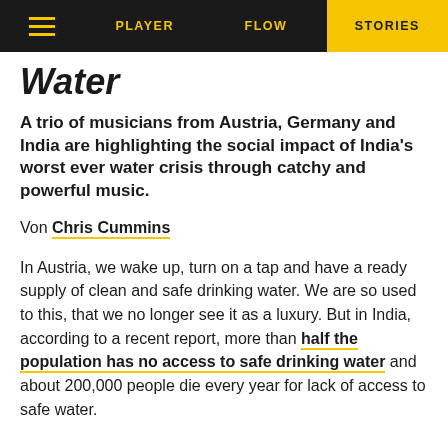PLAYER   FLOW   STORIES
Water
A trio of musicians from Austria, Germany and India are highlighting the social impact of India's worst ever water crisis through catchy and powerful music.
Von Chris Cummins
In Austria, we wake up, turn on a tap and have a ready supply of clean and safe drinking water. We are so used to this, that we no longer see it as a luxury. But in India, according to a recent report, more than half the population has no access to safe drinking water and about 200,000 people die every year for lack of access to safe water.